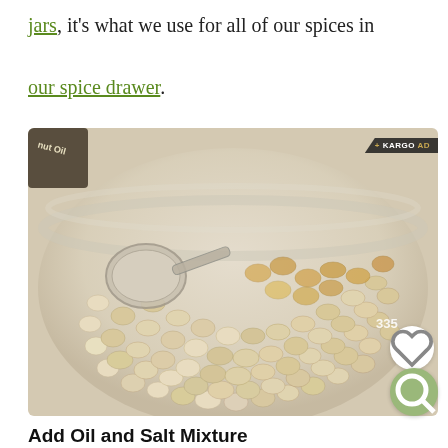jars, it's what we use for all of our spices in our spice drawer.
[Figure (photo): A glass bowl filled with raw popcorn kernels, with a metal measuring spoon resting on top. A bottle of oil is partially visible in the upper left corner. A heart icon button and a magnifying glass/search icon button are overlaid on the lower right of the image. A '+KARGO AD' badge appears in the upper right corner of the image.]
Add Oil and Salt Mixture